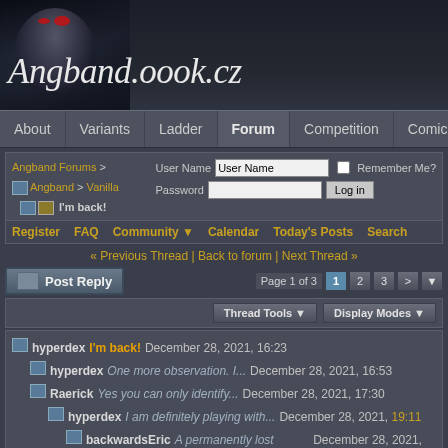[Figure (screenshot): Angband.oook.cz forum website header with dark fantasy character image and site title]
Angband.oook.cz
About | Variants | Ladder | Forum | Competition | Comic | Scre...
Angband Forums > Angband > Vanilla | I'm back!
User Name | Password | Remember Me? | Log in
Register | FAQ | Community | Calendar | Today's Posts | Search
« Previous Thread | Back to forum | Next Thread »
Post Reply | Page 1 of 3 | 1 | 2 | 3 | >
Thread Tools | Display Modes
hyperdex I'm back! December 28, 2021, 16:23
hyperdex One more observation. I... December 28, 2021, 16:53
Raerick Yes you can only identify... December 28, 2021, 17:30
hyperdex I am definitely playing with... December 28, 2021, 19:11
backwardsEric A permanently lost artifact... December 28, 2021, 19:4...
Pete Mack Oh man--checkerboard vault... December 28, 2021...